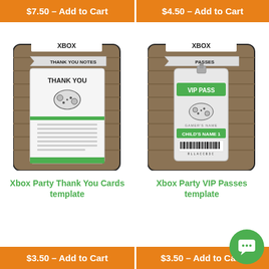$7.50 – Add to Cart
$4.50 – Add to Cart
[Figure (photo): Xbox Party Thank You Cards template product image showing a thank you card with Xbox controller graphic on wood background]
Xbox Party Thank You Cards template
[Figure (photo): Xbox Party VIP Passes template product image showing a VIP pass badge with Xbox controller graphic on wood background]
Xbox Party VIP Passes template
$3.50 – Add to Cart
$3.50 – Add to Cart